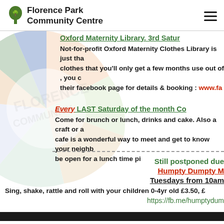Florence Park Community Centre
Oxford Maternity Library. 3rd Satur…
Not-for-profit Oxford Maternity Clothes Library is just that — clothes that you'll only get a few months use out of, you … their facebook page for details & booking : www.fa…
Every LAST Saturday of the month Co…
Come for brunch or lunch, drinks and cake. Also a craft or a… cafe is a wonderful way to meet and get to know your neighb… be open for a lunch time pi…
Still postponed due…
Humpty Dumpty M…
Tuesdays from 10am…
Sing, shake, rattle and roll with your children 0-4yr old £3.50, £…
https://fb.me/humptydum…